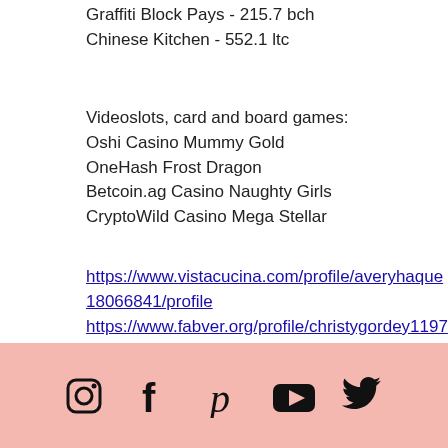Graffiti Block Pays - 215.7 bch
Chinese Kitchen - 552.1 ltc
Videoslots, card and board games:
Oshi Casino Mummy Gold
OneHash Frost Dragon
Betcoin.ag Casino Naughty Girls
CryptoWild Casino Mega Stellar
https://www.vistacucina.com/profile/averyhaque18066841/profile
https://www.fabver.org/profile/christygordey11972214/profile
https://www.nailcarenightmares.com/profile/leisayoshihara10372057/profile
https://www.globaleliteagent.com/profile/nakiesel11758768/profile
[Figure (illustration): Footer bar with social media icons: Instagram, Facebook, Pinterest, YouTube, Twitter on a pink/salmon background]